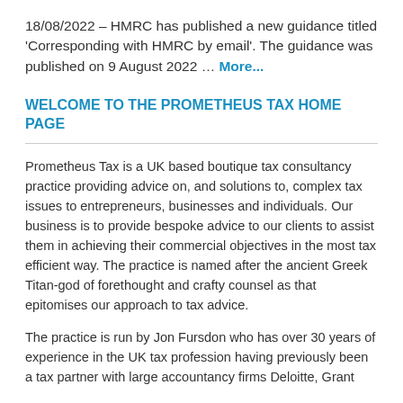18/08/2022 – HMRC has published a new guidance titled 'Corresponding with HMRC by email'. The guidance was published on 9 August 2022 … More...
WELCOME TO THE PROMETHEUS TAX HOME PAGE
Prometheus Tax is a UK based boutique tax consultancy practice providing advice on, and solutions to, complex tax issues to entrepreneurs, businesses and individuals. Our business is to provide bespoke advice to our clients to assist them in achieving their commercial objectives in the most tax efficient way. The practice is named after the ancient Greek Titan-god of forethought and crafty counsel as that epitomises our approach to tax advice.
The practice is run by Jon Fursdon who has over 30 years of experience in the UK tax profession having previously been a tax partner with large accountancy firms Deloitte, Grant